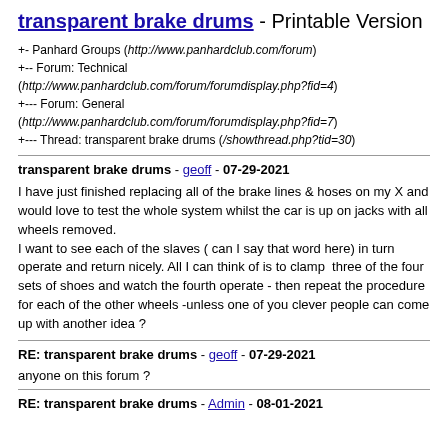transparent brake drums - Printable Version
+- Panhard Groups (http://www.panhardclub.com/forum)
+-- Forum: Technical (http://www.panhardclub.com/forum/forumdisplay.php?fid=4)
+--- Forum: General (http://www.panhardclub.com/forum/forumdisplay.php?fid=7)
+--- Thread: transparent brake drums (/showthread.php?tid=30)
transparent brake drums - geoff - 07-29-2021
I have just finished replacing all of the brake lines & hoses on my X and would love to test the whole system whilst the car is up on jacks with all wheels removed.
I want to see each of the slaves ( can I say that word here) in turn operate and return nicely. All I can think of is to clamp  three of the four sets of shoes and watch the fourth operate - then repeat the procedure for each of the other wheels -unless one of you clever people can come up with another idea ?
RE: transparent brake drums - geoff - 07-29-2021
anyone on this forum ?
RE: transparent brake drums - Admin - 08-01-2021